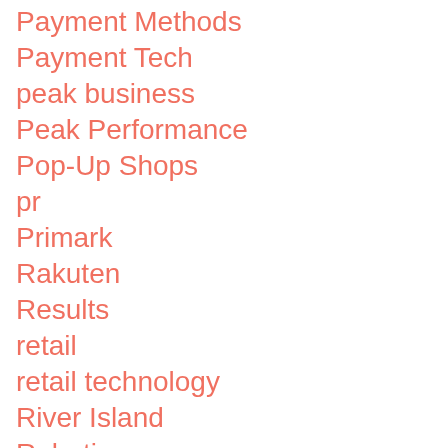Payment Methods
Payment Tech
peak business
Peak Performance
Pop-Up Shops
pr
Primark
Rakuten
Results
retail
retail technology
River Island
Robotics
Rumour
SaaS